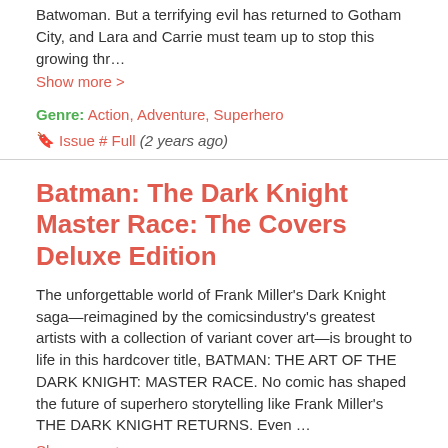Batwoman. But a terrifying evil has returned to Gotham City, and Lara and Carrie must team up to stop this growing thr…
Show more >
Genre: Action, Adventure, Superhero
🔖 Issue # Full (2 years ago)
Batman: The Dark Knight Master Race: The Covers Deluxe Edition
The unforgettable world of Frank Miller's Dark Knight saga—reimagined by the comicsindustry's greatest artists with a collection of variant cover art—is brought to life in this hardcover title, BATMAN: THE ART OF THE DARK KNIGHT: MASTER RACE. No comic has shaped the future of superhero storytelling like Frank Miller's THE DARK KNIGHT RETURNS. Even …
Show more >